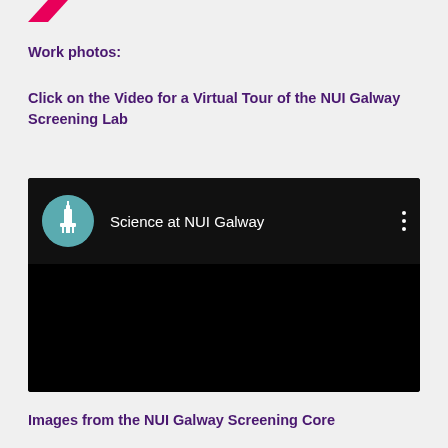[Figure (logo): Pink/magenta arrow or logo mark at top left]
Work photos:
Click on the Video for a Virtual Tour of the NUI Galway Screening Lab
[Figure (screenshot): YouTube video embed showing 'Science at NUI Galway' channel with black video area]
Images from the NUI Galway Screening Core